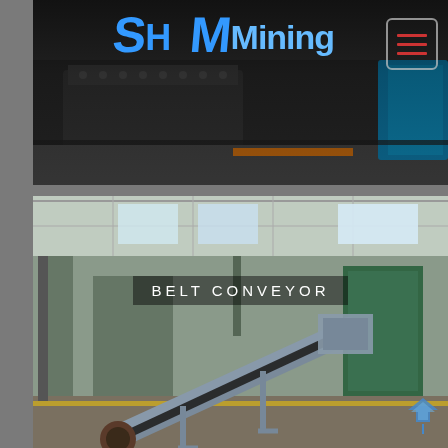[Figure (photo): SH Mining company logo overlaid on dark industrial machinery background. Logo shows 'SH Mining' in blue bold letters on a dark/black equipment background with industrial machinery visible.]
[Figure (photo): Belt conveyor product photo in an industrial warehouse/factory setting. A large inclined belt conveyor system is shown in a factory floor with steel structural supports, warehouse roof visible. Text overlay reads 'BELT CONVEYOR'.]